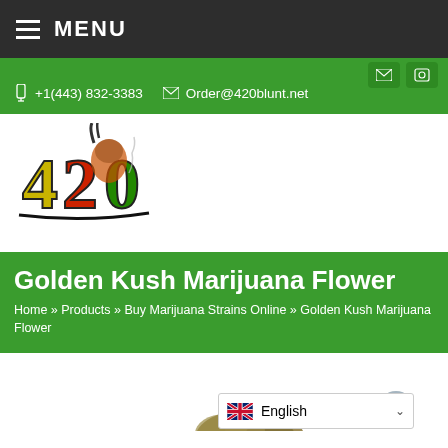MENU
+1(443) 832-3383   Order@420blunt.net
[Figure (logo): 420 Blunt logo with colorful graffiti-style numbers and Rastafarian figure]
Golden Kush Marijuana Flower
Home » Products » Buy Marijuana Strains Online » Golden Kush Marijuana Flower
[Figure (photo): Partial view of Golden Kush marijuana flower bud at bottom of page]
English